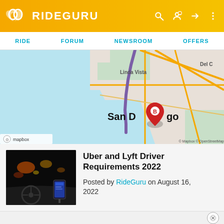RIDEGURU
[Figure (map): Map showing San Diego area with a purple route line and a red location pin labeled B near downtown San Diego. Water/bay visible on the left. Streets and highways shown in orange. Linda Vista and Del C labels visible. Mapbox and OpenStreetMap attribution.]
[Figure (photo): Night-time photo taken from inside a car, showing the steering wheel, dashboard, and a phone mounted on a holder displaying a ride-hailing app. Blurred city lights visible through the windshield.]
Uber and Lyft Driver Requirements 2022
Posted by RideGuru on August 16, 2022